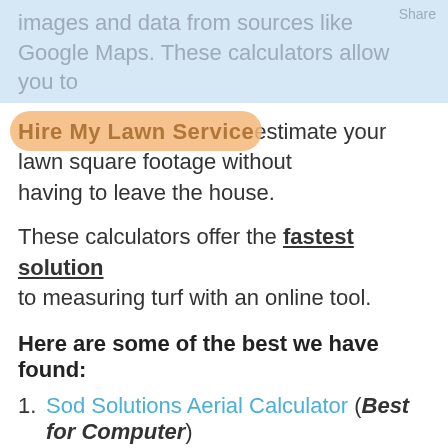images and data from sources like Google Maps. These calculators allow you to estimate your lawn square footage without having to leave the house.
These calculators offer the fastest solution to measuring turf with an online tool.
Here are some of the best we have found:
Sod Solutions Aerial Calculator (Best for Computer)
Area Calculator by Lawn Crack (Best for